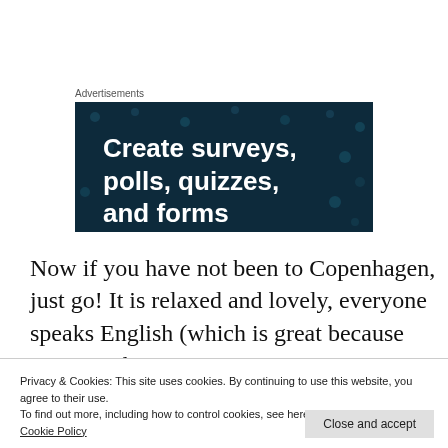Advertisements
[Figure (screenshot): Dark navy blue advertisement banner with white bold text reading 'Create surveys, polls, quizzes, and forms' partially visible, with decorative dot pattern on background]
Now if you have not been to Copenhagen, just go! It is relaxed and lovely, everyone speaks English (which is great because my Danish is
Privacy & Cookies: This site uses cookies. By continuing to use this website, you agree to their use.
To find out more, including how to control cookies, see here:
Cookie Policy
Close and accept
[Figure (photo): Partial dark photo visible at the bottom of the page]